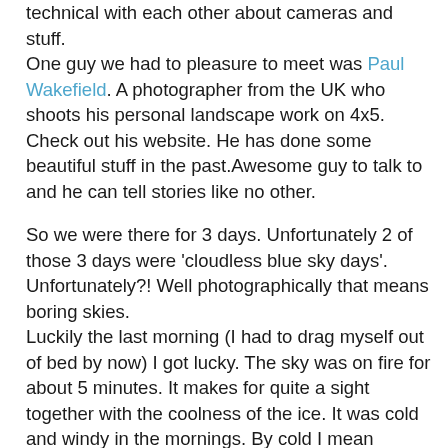technical with each other about cameras and stuff. One guy we had to pleasure to meet was Paul Wakefield. A photographer from the UK who shoots his personal landscape work on 4x5. Check out his website. He has done some beautiful stuff in the past.Awesome guy to talk to and he can tell stories like no other.
So we were there for 3 days. Unfortunately 2 of those 3 days were 'cloudless blue sky days'. Unfortunately?! Well photographically that means boring skies. Luckily the last morning (I had to drag myself out of bed by now) I got lucky. The sky was on fire for about 5 minutes. It makes for quite a sight together with the coolness of the ice. It was cold and windy in the mornings. By cold I mean temperatures between -30C (the first morning) and -19C (the last morning). But it warmed up pretty good during the day. We did manage to do some hikes as well. What a stunning place this is and so no developed like Banff or Jasper. It's like a well kept secret nobody really knows about.
I am slowly working my way through the images I took. Of course I had to start with the most spectacular ones. Here's